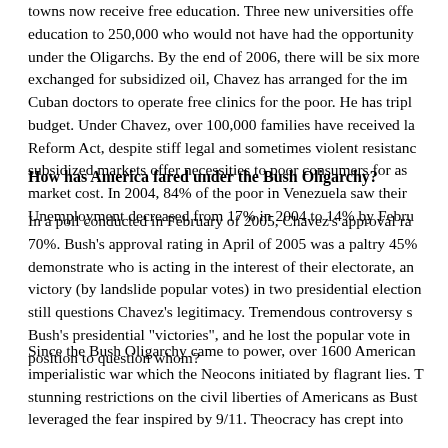towns now receive free education. Three new universities offer education to 250,000 who would not have had the opportunity under the Oligarchs. By the end of 2006, there will be six more exchanged for subsidized oil, Chavez has arranged for the im Cuban doctors to operate free clinics for the poor. He has tripl budget. Under Chavez, over 100,000 families have received la Reform Act, despite stiff legal and sometimes violent resistanc subsidized markets offer necessities to poor consumers for as market cost. In 2004, 84% of the poor in Venezuela saw their Unemployment decreased from 17% in 2004 to 14% by Febru
How has America fared under the Bush Oligarchy?
In a poll conducted in February of 2005, Chavez's approval ra 70%. Bush's approval rating in April of 2005 was a paltry 45% demonstrate who is acting in the interest of their electorate, an victory (by landslide popular votes) in two presidential election still questions Chavez's legitimacy. Tremendous controversy s Bush's presidential "victories", and he lost the popular vote in position to question whom?
Since the Bush Oligarchy came to power, over 1600 American imperialistic war which the Neocons initiated by flagrant lies. T stunning restrictions on the civil liberties of Americans as Bus leveraged the fear inspired by 9/11. Theocracy has crept into